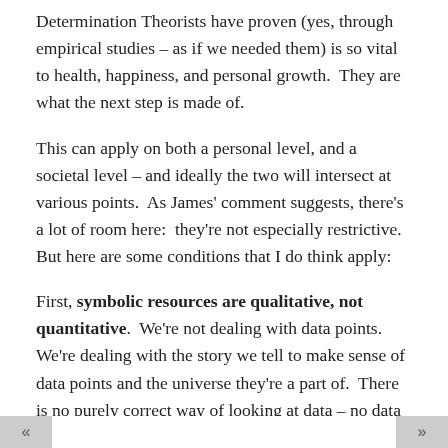Determination Theorists have proven (yes, through empirical studies – as if we needed them) is so vital to health, happiness, and personal growth.  They are what the next step is made of.
This can apply on both a personal level, and a societal level – and ideally the two will intersect at various points.  As James' comment suggests, there's a lot of room here:  they're not especially restrictive.  But here are some conditions that I do think apply:
First, symbolic resources are qualitative, not quantitative.  We're not dealing with data points.  We're dealing with the story we tell to make sense of data points and the universe they're a part of.  There is no purely correct way of looking at data – no data set pure as to be beyond interpretation.  The more we etend there is, the more miserable we tend to